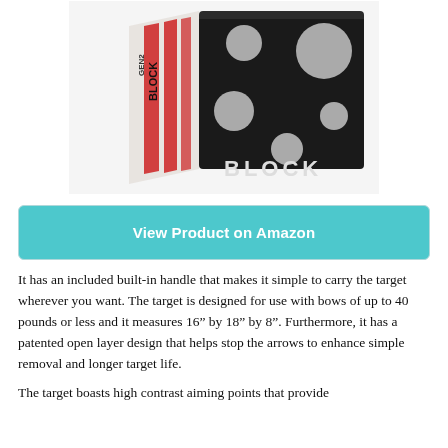[Figure (photo): Photo of a black archery target block with grey circular aiming points on the front face. The side of the block shows red and white branding text reading 'Block Gen2'. The product is a foam archery target.]
View Product on Amazon
It has an included built-in handle that makes it simple to carry the target wherever you want. The target is designed for use with bows of up to 40 pounds or less and it measures 16” by 18” by 8”. Furthermore, it has a patented open layer design that helps stop the arrows to enhance simple removal and longer target life.
The target boasts high contrast aiming points that provide